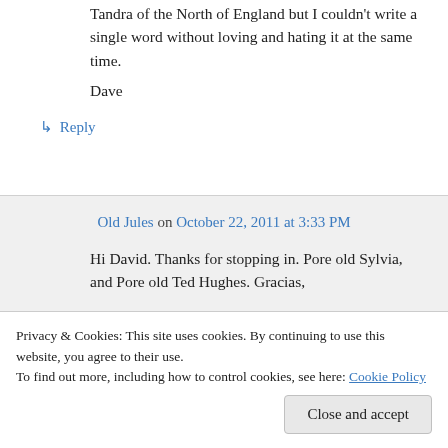Tandra of the North of England but I couldn't write a single word without loving and hating it at the same time.
Dave
↳ Reply
Old Jules on October 22, 2011 at 3:33 PM
Hi David. Thanks for stopping in. Pore old Sylvia, and Pore old Ted Hughes. Gracias,
Privacy & Cookies: This site uses cookies. By continuing to use this website, you agree to their use.
To find out more, including how to control cookies, see here: Cookie Policy
Close and accept